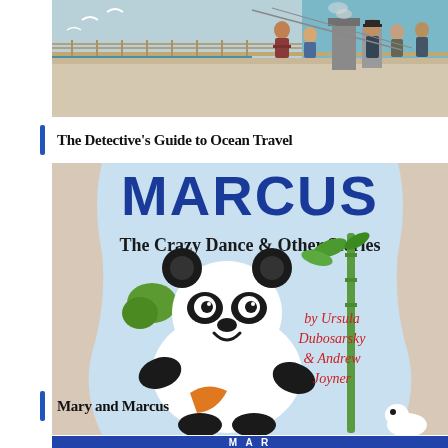[Figure (illustration): Book cover illustration showing people on the deck of an ocean liner, with seagulls and ocean in the background — for 'The Detective's Guide to Ocean Travel']
The Detective's Guide to Ocean Travel
[Figure (illustration): Book cover for 'Mary and Marcus: The Crazy Dance & Other Stories' by Ursula Dubosarsky & Andrew Joyner, featuring a large cheerful panda character against a light blue background with the text MARCUS at the top]
Mary and Marcus
[Figure (illustration): Partial view of another book cover at the bottom of the page]